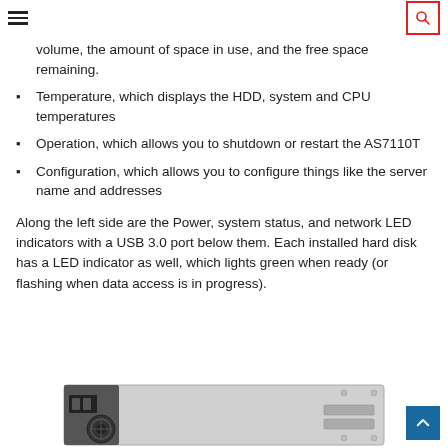Navigation header with hamburger menu and search button
volume, the amount of space in use, and the free space remaining.
Temperature, which displays the HDD, system and CPU temperatures
Operation, which allows you to shutdown or restart the AS7110T
Configuration, which allows you to configure things like the server name and addresses
Along the left side are the Power, system status, and network LED indicators with a USB 3.0 port below them. Each installed hard disk has a LED indicator as well, which lights green when ready (or flashing when data access is in progress).
[Figure (photo): Rear panel of the AS7110T NAS device showing power connector, fan, and ports]